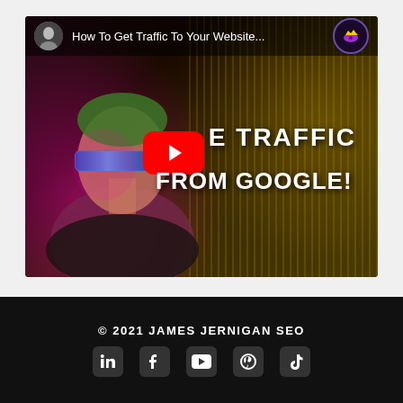[Figure (screenshot): YouTube video thumbnail showing a futuristic woman with visor sunglasses against a dark background with colorful light streaks. Text overlay reads 'FREE TRAFFIC FROM GOOGLE!' with a YouTube play button. Video title bar at top reads 'How To Get Traffic To Your Website...' with an avatar and eye logo icon.]
© 2021 JAMES JERNIGAN SEO